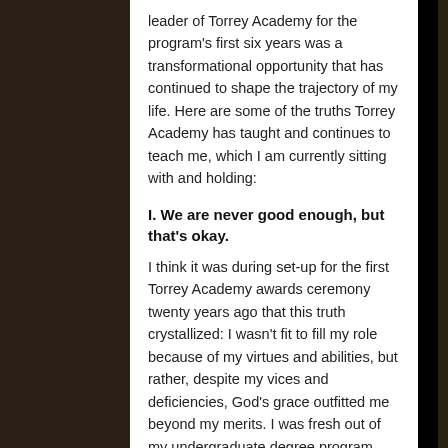leader of Torrey Academy for the program's first six years was a transformational opportunity that has continued to shape the trajectory of my life. Here are some of the truths Torrey Academy has taught and continues to teach me, which I am currently sitting with and holding:
I. We are never good enough, but that's okay.
I think it was during set-up for the first Torrey Academy awards ceremony twenty years ago that this truth crystallized: I wasn't fit to fill my role because of my virtues and abilities, but rather, despite my vices and deficiencies, God's grace outfitted me beyond my merits. I was fresh out of my undergraduate degree program and quite green. I made many mistakes those first years, and learned so much as I bumped along like an awkward June bug. I did my best, but God